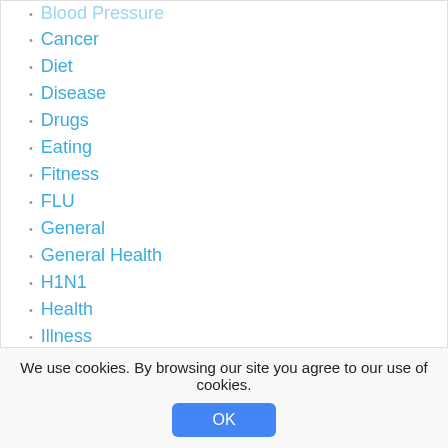Cancer
Diet
Disease
Drugs
Eating
Fitness
FLU
General
General Health
H1N1
Health
Illness
Knowledge
Life
Living Style
Medical
Medicines
Miscellaneous
We use cookies. By browsing our site you agree to our use of cookies.